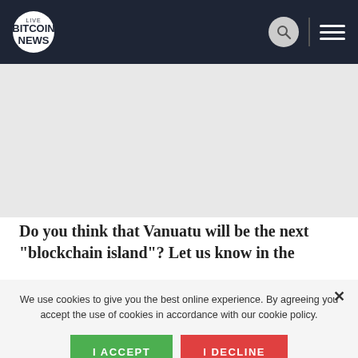LIVE BITCOIN NEWS
[Figure (photo): Article image placeholder area, light gray]
Do you think that Vanuatu will be the next “blockchain island”? Let us know in the
We use cookies to give you the best online experience. By agreeing you accept the use of cookies in accordance with our cookie policy.
I ACCEPT
I DECLINE
Privacy Center   Cookie Policy